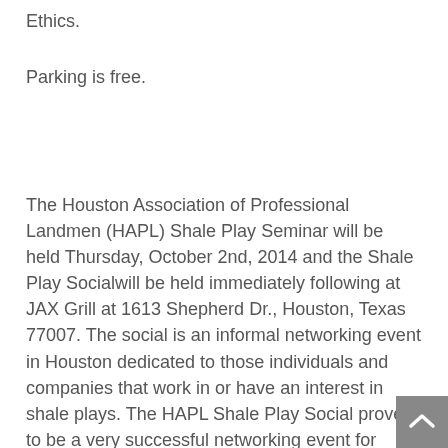Ethics.
Parking is free.
The Houston Association of Professional Landmen (HAPL) Shale Play Seminar will be held Thursday, October 2nd, 2014 and the Shale Play Socialwill be held immediately following at JAX Grill at 1613 Shepherd Dr., Houston, Texas 77007. The social is an informal networking event in Houston dedicated to those individuals and companies that work in or have an interest in shale plays. The HAPL Shale Play Social proved to be a very successful networking event for